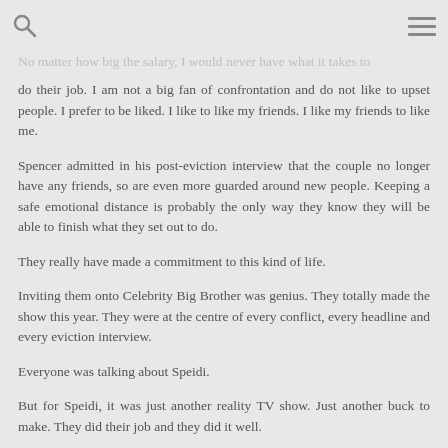switch.
No matter how big the salary, I would never have what it takes to do their job.  I am not a big fan of confrontation and do not like to upset people.  I prefer to be liked.  I like to like my friends.  I like my friends to like me.
Spencer admitted in his post-eviction interview that the couple no longer have any friends, so are even more guarded around new people.  Keeping a safe emotional distance is probably the only way they know they will be able to finish what they set out to do.
They really have made a commitment to this kind of life.
Inviting them onto Celebrity Big Brother was genius.  They totally made the show this year.  They were at the centre of every conflict, every headline and every eviction interview.
Everyone was talking about Speidi.
But for Speidi, it was just another reality TV show.  Just another buck to make.  They did their job and they did it well.
What they did not prepare for, was being in a house with people who did not share the same experience of the game.